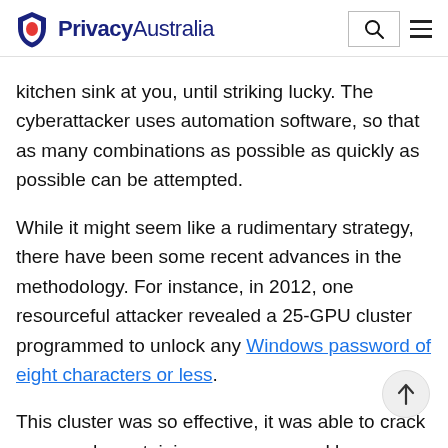PrivacyAustralia
kitchen sink at you, until striking lucky. The cyberattacker uses automation software, so that as many combinations as possible as quickly as possible can be attempted.
While it might seem like a rudimentary strategy, there have been some recent advances in the methodology. For instance, in 2012, one resourceful attacker revealed a 25-GPU cluster programmed to unlock any Windows password of eight characters or less.
This cluster was so effective, it was able to crack passwords containing uppercase and lowercase letters, symbols, numbers, all inside of six hours. Just a repeat, every parcel encountered of this